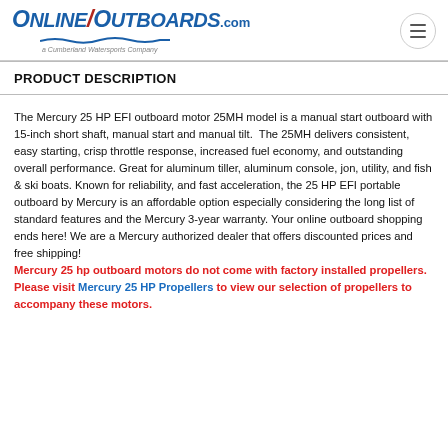OnlineOutboards.com — a Cumberland Watersports Company
PRODUCT DESCRIPTION
The Mercury 25 HP EFI outboard motor 25MH model is a manual start outboard with 15-inch short shaft, manual start and manual tilt. The 25MH delivers consistent, easy starting, crisp throttle response, increased fuel economy, and outstanding overall performance. Great for aluminum tiller, aluminum console, jon, utility, and fish & ski boats. Known for reliability, and fast acceleration, the 25 HP EFI portable outboard by Mercury is an affordable option especially considering the long list of standard features and the Mercury 3-year warranty. Your online outboard shopping ends here! We are a Mercury authorized dealer that offers discounted prices and free shipping! Mercury 25 hp outboard motors do not come with factory installed propellers. Please visit Mercury 25 HP Propellers to view our selection of propellers to accompany these motors.